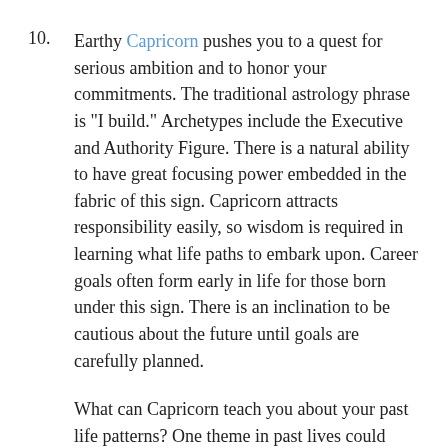10. Earthy Capricorn pushes you to a quest for serious ambition and to honor your commitments. The traditional astrology phrase is "I build." Archetypes include the Executive and Authority Figure. There is a natural ability to have great focusing power embedded in the fabric of this sign. Capricorn attracts responsibility easily, so wisdom is required in learning what life paths to embark upon. Career goals often form early in life for those born under this sign. There is an inclination to be cautious about the future until goals are carefully planned.
What can Capricorn teach you about your past life patterns? One theme in past lives could have been related to inflexibility. Difficulty in adapting to change made it a challenge to take advantage of new opportunities. In this life...